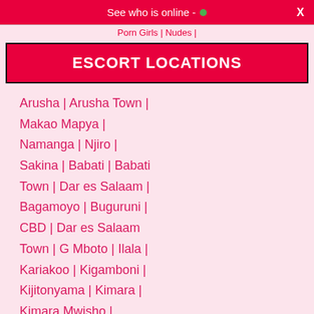See who is online -
Porn Girls | Nudes |
ESCORT LOCATIONS
Arusha | Arusha Town | Makao Mapya | Namanga | Njiro | Sakina | Babati | Babati Town | Dar es Salaam | Bagamoyo | Buguruni | CBD | Dar es Salaam Town | G Mboto | Ilala | Kariakoo | Kigamboni | Kijitonyama | Kimara | Kimara Mwisho | Kinondoni | Kinyerezi | Korogwe | Kunduchi | Magomeni | Makumbusho | Manzese | Masaki | Mbagala